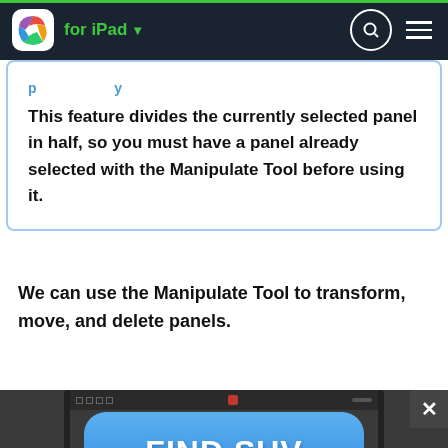for iPad
This feature divides the currently selected panel in half, so you must have a panel already selected with the Manipulate Tool before using it.
We can use the Manipulate Tool to transform, move, and delete panels.
[Figure (screenshot): Screenshot of a drawing application toolbar interface with dark background]
[Figure (infographic): Blue advertisement button with text 'FIND SUV DEALS']